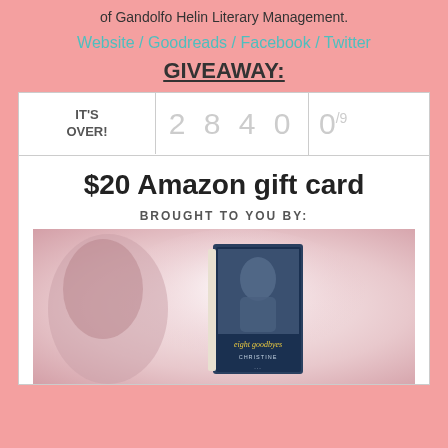of Gandolfo Helin Literary Management.
Website / Goodreads / Facebook / Twitter
GIVEAWAY:
[Figure (screenshot): Giveaway widget showing IT'S OVER!, entry count 2840, and 0/9 winners, with prize '$20 Amazon gift card', 'BROUGHT TO YOU BY:' and book cover for 'eight goodbyes' by Christine]
$20 Amazon gift card
BROUGHT TO YOU BY: